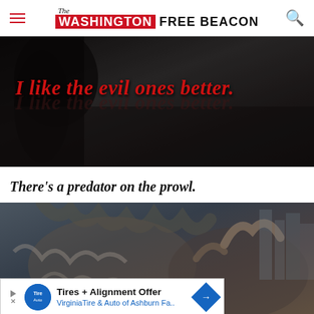The Washington Free Beacon
[Figure (photo): Dark atmospheric image with a shadowy figure. Red italic text overlay reads: 'I like the evil ones better.' with a shadowed repeat of the same text below in dark red.]
There's a predator on the prowl.
[Figure (photo): Movie still showing large monster/creature characters in an urban setting with city buildings in background. A tire advertisement overlay appears at the bottom: 'Tires + Alignment Offer - VirginiaTire & Auto of Ashburn Fa...']